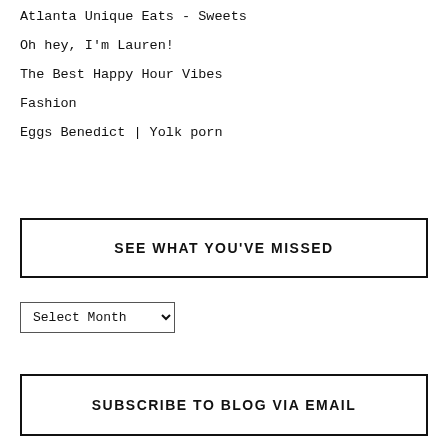Atlanta Unique Eats - Sweets
Oh hey, I'm Lauren!
The Best Happy Hour Vibes
Fashion
Eggs Benedict | Yolk porn
SEE WHAT YOU'VE MISSED
Select Month
SUBSCRIBE TO BLOG VIA EMAIL